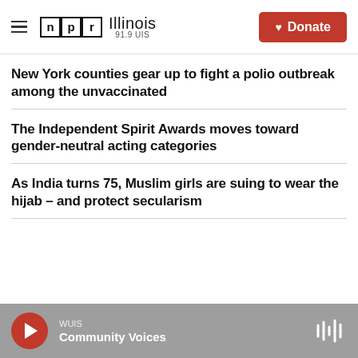NPR Illinois 91.9 UIS | Donate
New York counties gear up to fight a polio outbreak among the unvaccinated
The Independent Spirit Awards moves toward gender-neutral acting categories
As India turns 75, Muslim girls are suing to wear the hijab – and protect secularism
WUIS Community Voices